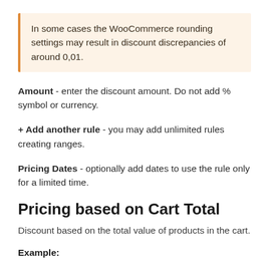In some cases the WooCommerce rounding settings may result in discount discrepancies of around 0,01.
Amount - enter the discount amount. Do not add % symbol or currency.
+ Add another rule - you may add unlimited rules creating ranges.
Pricing Dates - optionally add dates to use the rule only for a limited time.
Pricing based on Cart Total
Discount based on the total value of products in the cart.
Example: